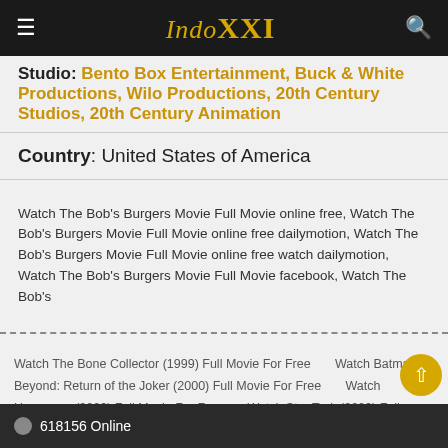IndoXXI — navigation header with hamburger menu, logo, and search icon
Studio: Bento Box Entertainment, Buck & White Productions, Wilo Productions, 20th Century Studios, 20th Century Animation
Country: United States of America
Watch The Bob's Burgers Movie Full Movie online free, Watch The Bob's Burgers Movie Full Movie online free dailymotion, Watch The Bob's Burgers Movie Full Movie online free watch dailymotion, Watch The Bob's Burgers Movie Full Movie facebook, Watch The Bob's
Watch The Bone Collector (1999) Full Movie For Free    Watch Batman Beyond: Return of the Joker (2000) Full Movie For Free    Watch Horsemen (2009) Full Movie For Free    Watch Star Trek (2009) Full Movie For Free    Watch Encounter of the Spooky Kind (1980) Full Movie For Free    Watch Get Smart (2008) Full Movie For Free    Watch Zodiac (2007) Full Movie For Free    Watch Charlie's Angels (2000) Full Movie For Free
618156 Online